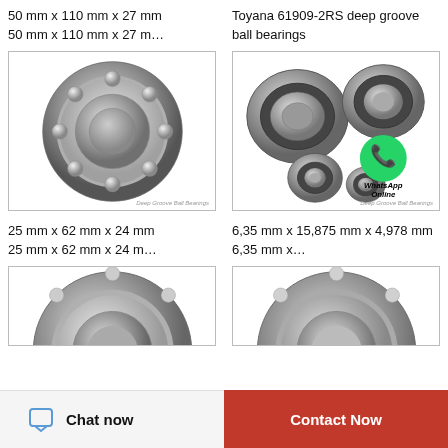50 mm x 110 mm x 27 mm 50 mm x 110 mm x 27 m…
Toyana 61909-2RS deep groove ball bearings
[Figure (photo): Single deep groove ball bearing, silver metallic, open type, viewed from front angle]
[Figure (photo): Multiple deep groove ball bearings of varying sizes with WhatsApp Online overlay]
25 mm x 62 mm x 24 mm 25 mm x 62 mm x 24 m…
6,35 mm x 15,875 mm x 4,978 mm 6,35 mm x…
[Figure (photo): Partial view of deep groove ball bearing, bottom left, cropped]
[Figure (photo): Partial view of deep groove ball bearing, bottom right, cropped]
Chat now
Contact Now